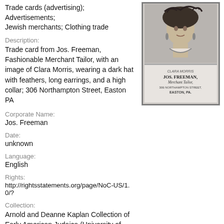Trade cards (advertising); Advertisements; Jewish merchants; Clothing trade
[Figure (photo): Trade card from Jos. Freeman, Fashionable Merchant Tailor, showing a portrait of Clara Morris wearing a dark hat with feathers, long earrings, and a high collar, with text reading 'JOS. FREEMAN, Merchant Tailor, 306 Northampton Street, Easton, PA']
Description:
Trade card from Jos. Freeman, Fashionable Merchant Tailor, with an image of Clara Morris, wearing a dark hat with feathers, long earrings, and a high collar; 306 Northampton Street, Easton PA
Corporate Name:
Jos. Freeman
Date:
unknown
Language:
English
Rights:
http://rightsstatements.org/page/NoC-US/1.0/?
Collection:
Arnold and Deanne Kaplan Collection of Early American Judaica (University of Pennsylvania)
Call Number:
Arc.MS.56